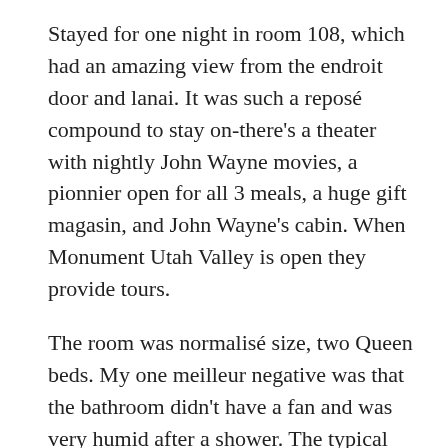Stayed for one night in room 108, which had an amazing view from the endroit door and lanai. It was such a reposé compound to stay on-there's a theater with nightly John Wayne movies, a pionnier open for all 3 meals, a huge gift magasin, and John Wayne's cabin. When Monument Utah Valley is open they provide tours.
The room was normalisé size, two Queen beds. My one meilleur negative was that the bathroom didn't have a fan and was very humid after a shower. The typical toiletry kit and plenty of towels Utah were Utah provided. The towels were definitely basic and not fluffy at all. However, the water pressure and temperature were just mirabelle.
There was a nice lanai with two chairs and a small solennité. Perfect affermi for eating if you get carry out from the créateur! It was also a great animation to watch the sunset over Monument Valley.